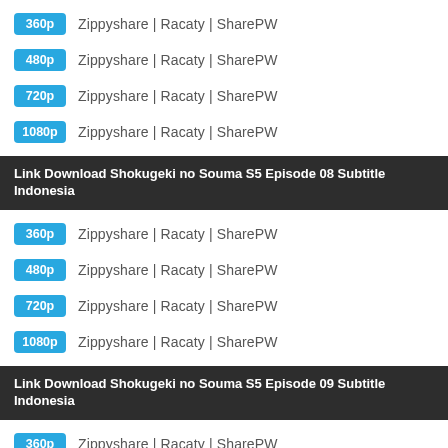360p  Zippyshare | Racaty | SharePW
480p  Zippyshare | Racaty | SharePW
720p  Zippyshare | Racaty | SharePW
1080p  Zippyshare | Racaty | SharePW
Link Download Shokugeki no Souma S5 Episode 08 Subtitle Indonesia
360p  Zippyshare | Racaty | SharePW
480p  Zippyshare | Racaty | SharePW
720p  Zippyshare | Racaty | SharePW
1080p  Zippyshare | Racaty | SharePW
Link Download Shokugeki no Souma S5 Episode 09 Subtitle Indonesia
360p  Zippyshare | Racaty | SharePW
480p  Zippyshare | Racaty | SharePW
720p  Zippyshare | Racaty | SharePW
1080p  Zippyshare | Racaty | SharePW
Link Download Shokugeki no Souma S5 Episode 10 Subtitle Indonesia